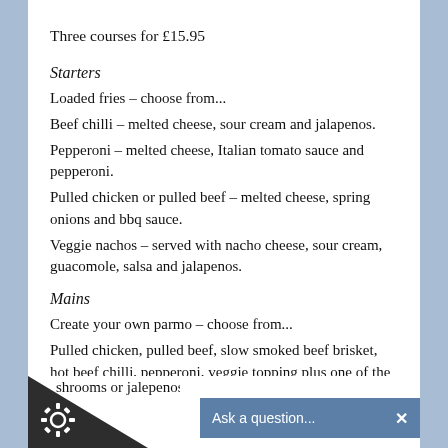Three courses for £15.95
Starters
Loaded fries – choose from...
Beef chilli – melted cheese, sour cream and jalapenos.
Pepperoni – melted cheese, Italian tomato sauce and pepperoni.
Pulled chicken or pulled beef – melted cheese, spring onions and bbq sauce.
Veggie nachos – served with nacho cheese, sour cream, guacomole, salsa and jalapenos.
Mains
Create your own parmo – choose from...
Pulled chicken, pulled beef, slow smoked beef brisket, hot beef chilli, pepperoni, veggie topping plus one of the following – pe… shrooms or jalepenos topp…